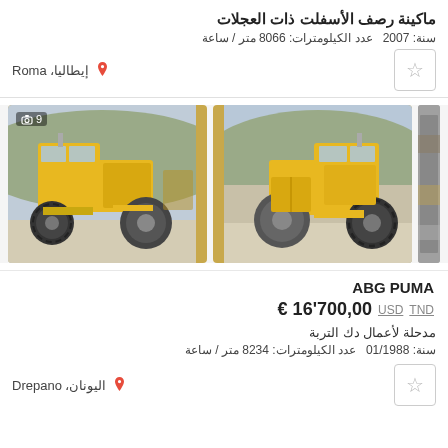ماكينة رصف الأسفلت ذات العجلات
سنة: 2007  عدد الكيلومترات: 8066 متر / ساعة
إيطاليا، Roma
[Figure (photo): Two photos of a yellow wheeled asphalt paver/roller machine on gravel, shown from left and right sides. Second photo has a camera icon with count 9.]
ABG PUMA
€ 16'700,00  USD  TND
مدحلة لأعمال دك التربة
سنة: 01/1988  عدد الكيلومترات: 8234 متر / ساعة
اليونان، Drepano